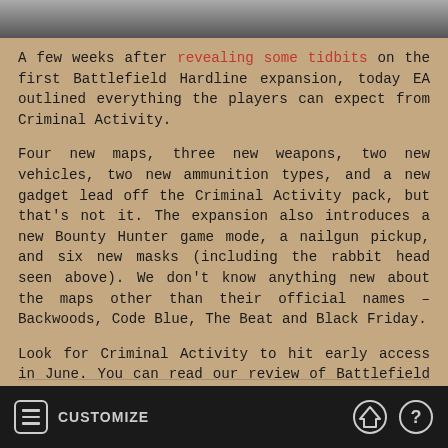[Figure (photo): Partial photo of a person, cropped, showing legs/lower body in dark setting]
A few weeks after revealing some tidbits on the first Battlefield Hardline expansion, today EA outlined everything the players can expect from Criminal Activity.
Four new maps, three new weapons, two new vehicles, two new ammunition types, and a new gadget lead off the Criminal Activity pack, but that's not it. The expansion also introduces a new Bounty Hunter game mode, a nailgun pickup, and six new masks (including the rabbit head seen above). We don't know anything new about the maps other than their official names – Backwoods, Code Blue, The Beat and Black Friday.
Look for Criminal Activity to hit early access in June. You can read our review of Battlefield Hardline here.
CUSTOMIZE